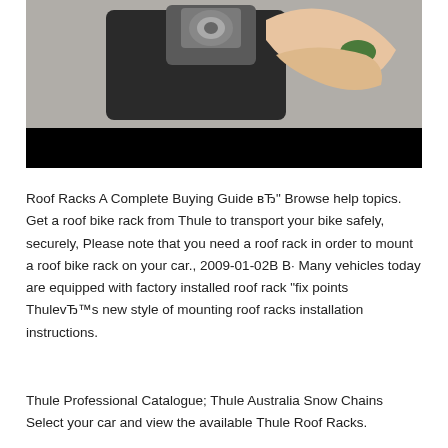[Figure (photo): Close-up photo of hands holding a roof rack mounting component (black plastic and metal clamp/bracket), with a green-tipped finger pressing on it. The bottom portion of the image is a black bar.]
Roof Racks A Complete Buying Guide вЂ" Browse help topics. Get a roof bike rack from Thule to transport your bike safely, securely, Please note that you need a roof rack in order to mount a roof bike rack on your car., 2009-01-02В В· Many vehicles today are equipped with factory installed roof rack "fix points ThulevЂ™s new style of mounting roof racks installation instructions.
Thule Professional Catalogue; Thule Australia Snow Chains Select your car and view the available Thule Roof Racks.